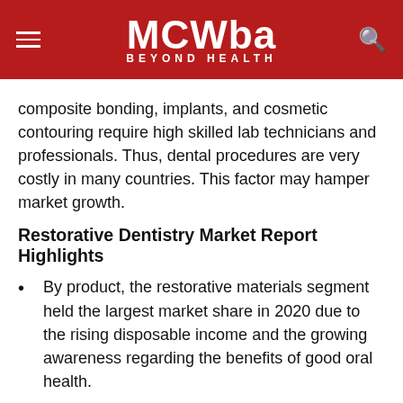MCWba BEYOND HEALTH
composite bonding, implants, and cosmetic contouring require high skilled lab technicians and professionals. Thus, dental procedures are very costly in many countries. This factor may hamper market growth.
Restorative Dentistry Market Report Highlights
By product, the restorative materials segment held the largest market share in 2020 due to the rising disposable income and the growing awareness regarding the benefits of good oral health.
Based on the end use, the dental hospitals & clinics segment captured the largest market share in 2020 as the number of standalone